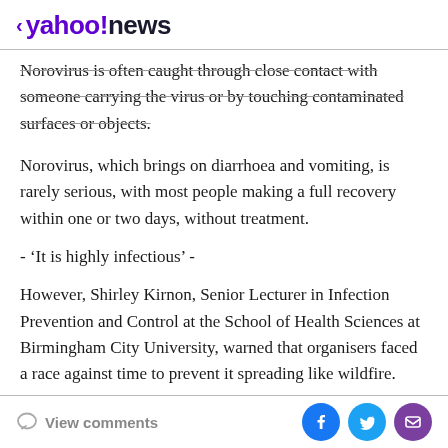< yahoo!news
Norovirus is often caught through close contact with someone carrying the virus or by touching contaminated surfaces or objects.
Norovirus, which brings on diarrhoea and vomiting, is rarely serious, with most people making a full recovery within one or two days, without treatment.
- ‘It is highly infectious’ -
However, Shirley Kirnon, Senior Lecturer in Infection Prevention and Control at the School of Health Sciences at Birmingham City University, warned that organisers faced a race against time to prevent it spreading like wildfire.
View comments